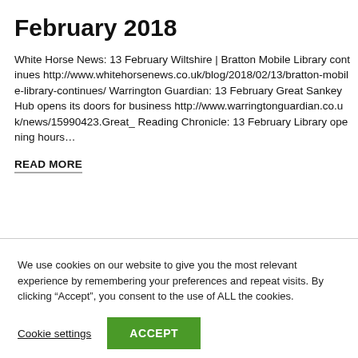February 2018
White Horse News: 13 February Wiltshire | Bratton Mobile Library continues http://www.whitehorsenews.co.uk/blog/2018/02/13/bratton-mobile-library-continues/ Warrington Guardian: 13 February Great Sankey Hub opens its doors for business http://www.warringtonguardian.co.uk/news/15990423.Great_ Reading Chronicle: 13 February Library opening hours…
READ MORE
We use cookies on our website to give you the most relevant experience by remembering your preferences and repeat visits. By clicking “Accept”, you consent to the use of ALL the cookies.
Cookie settings
ACCEPT